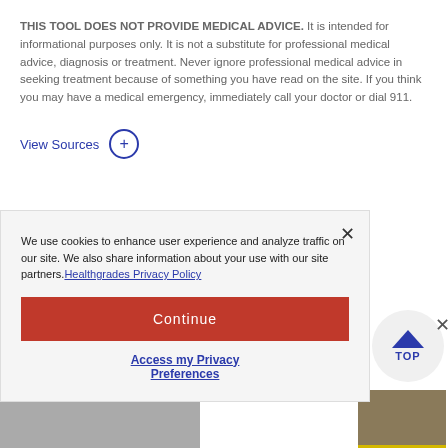THIS TOOL DOES NOT PROVIDE MEDICAL ADVICE. It is intended for informational purposes only. It is not a substitute for professional medical advice, diagnosis or treatment. Never ignore professional medical advice in seeking treatment because of something you have read on the site. If you think you may have a medical emergency, immediately call your doctor or dial 911.
View Sources +
We use cookies to enhance user experience and analyze traffic on our site. We also share information about your use with our site partners. Healthgrades Privacy Policy
Continue
Access my Privacy Preferences